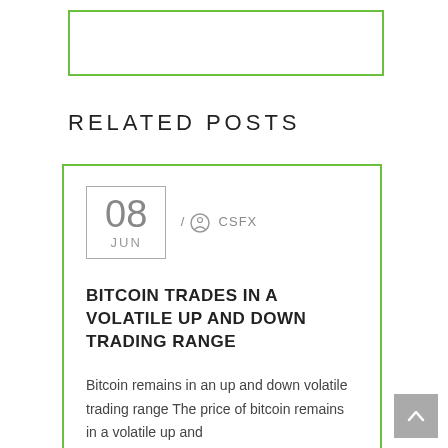[Figure (other): Empty green-bordered box at top of page]
RELATED POSTS
08 JUN / CSFX
BITCOIN TRADES IN A VOLATILE UP AND DOWN TRADING RANGE
Bitcoin remains in an up and down volatile trading range The price of bitcoin remains in a volatile up and